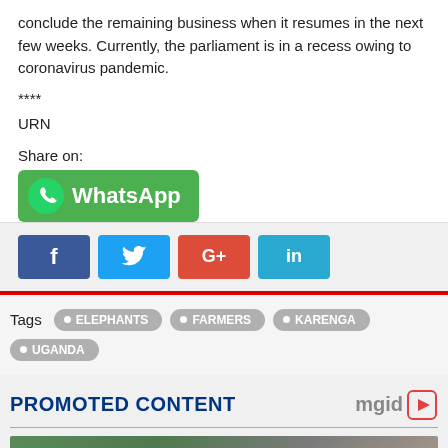conclude the remaining business when it resumes in the next few weeks. Currently, the parliament is in a recess owing to coronavirus pandemic.
****
URN
Share on:
[Figure (infographic): WhatsApp share button (green rounded rectangle with WhatsApp logo and text)]
[Figure (infographic): Social share buttons row: Facebook (f, blue), Twitter (bird icon, light blue), Google+ (G+, red), LinkedIn (in, light blue)]
Tags  • ELEPHANTS  • FARMERS  • KARENGA  • UGANDA
PROMOTED CONTENT
[Figure (photo): Promotional content photo showing group of people outdoors with trees in background, with a red scroll-up button overlay at bottom right]